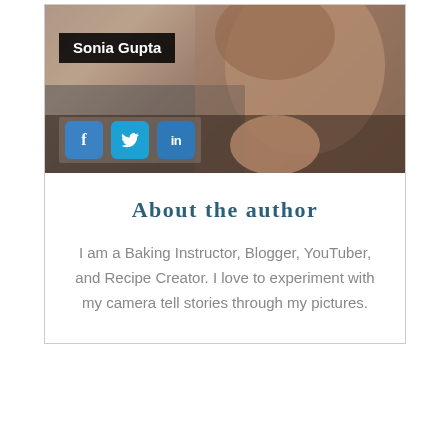[Figure (photo): Author photo of Sonia Gupta with name overlay and social media icons (Facebook, Twitter, LinkedIn)]
About the author
I am a Baking Instructor, Blogger, YouTuber, and Recipe Creator. I love to experiment with my camera tell stories through my pictures.